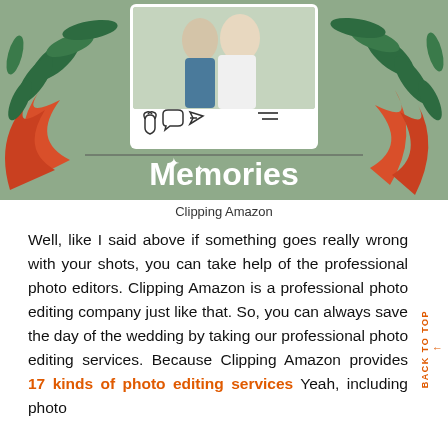[Figure (illustration): Decorative illustration with a sage green background, tropical plants (red and green leaves), and a social media-style photo frame showing a couple embracing outdoors. Below the frame, large white bold text reads 'Memories' with sparkle/star decorations.]
Clipping Amazon
Well, like I said above if something goes really wrong with your shots, you can take help of the professional photo editors. Clipping Amazon is a professional photo editing company just like that. So, you can always save the day of the wedding by taking our professional photo editing services. Because Clipping Amazon provides 17 kinds of photo editing services Yeah, including photo